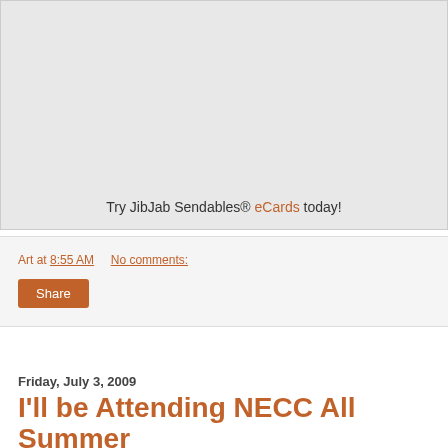[Figure (other): Embedded JibJab Sendables video/animation player area with gray background and text 'Try JibJab Sendables® eCards today!']
Art at 8:55 AM    No comments:
Share
Friday, July 3, 2009
I'll be Attending NECC All Summer Long!